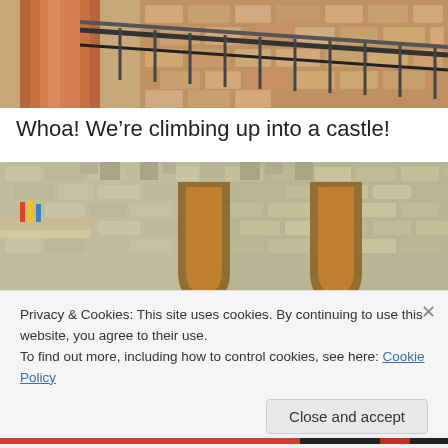[Figure (photo): Photo of brick wall interior with copper pipe and metal railing, viewed from below, warm orange tones]
Whoa! We’re climbing up into a castle!
[Figure (photo): Interior of a castle-themed room with stone-textured brick walls, pointed gothic arched windows, and small shelf with colored pencils]
Privacy & Cookies: This site uses cookies. By continuing to use this website, you agree to their use.
To find out more, including how to control cookies, see here: Cookie Policy
Close and accept